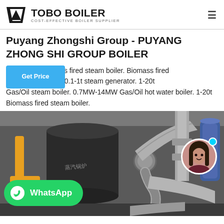TOBO BOILER — COST-EFFECTIVE BOILER SUPPLIER
Puyang Zhongshi Group - PUYANG ZHONG SHI GROUP BOILER
ater boiler. Biomass fired steam boiler. Biomass fired r. Coal fired boiler. 0.1-1t steam generator. 1-20t Gas/Oil steam boiler. 0.7MW-14MW Gas/Oil hot water boiler. 1-20t Biomass fired steam boiler.
[Figure (photo): Industrial boiler room with large cylindrical boiler, stainless steel pipes and fittings, yellow gas pipes, and blue tanks in background]
[Figure (logo): WhatsApp button badge in green with WhatsApp phone icon and text 'WhatsApp']